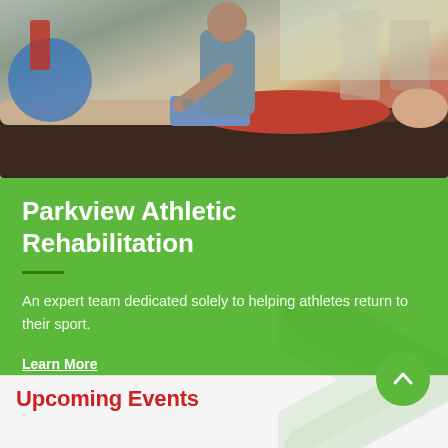[Figure (photo): A physical therapist treating a patient lying on a treatment table in a rehabilitation gym. The patient is wearing a red shirt and the therapist is assisting with a leg exercise. Exercise equipment visible in the background.]
Parkview Athletic Rehabilitation
An expert team dedicated solely to helping athletes return to their sport.
Learn More
Upcoming Events